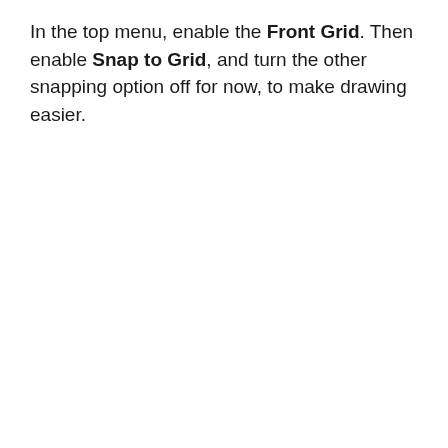In the top menu, enable the Front Grid. Then enable Snap to Grid, and turn the other snapping option off for now, to make drawing easier.